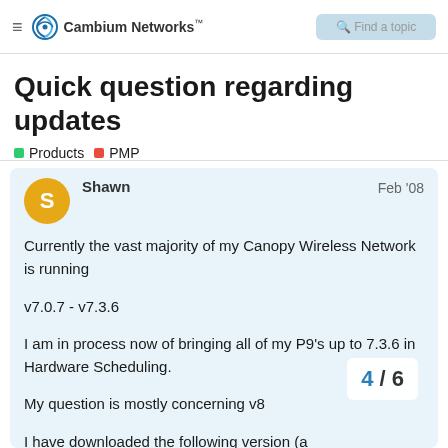Cambium Networks™
Quick question regarding updates
Products  PMP
Shawn  Feb '08

Currently the vast majority of my Canopy Wireless Network is running

v7.0.7 - v7.3.6

I am in process now of bringing all of my P9's up to 7.3.6 in Hardware Scheduling.

My question is mostly concerning v8

I have downloaded the following version (a DES v8x series available for download:
4 / 6